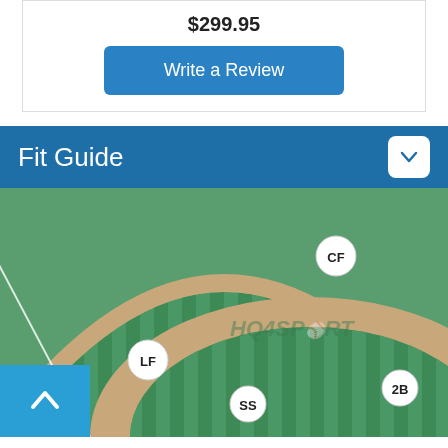$299.95
Write a Review
Fit Guide
[Figure (illustration): Baseball field diagram showing outfield (LF, CF) and infield (SS, 2B) positions with green striped grass pattern, dirt infield area, and HQ4SPORT watermark logo. A back-to-top button (chevron up) is in the bottom-left corner.]